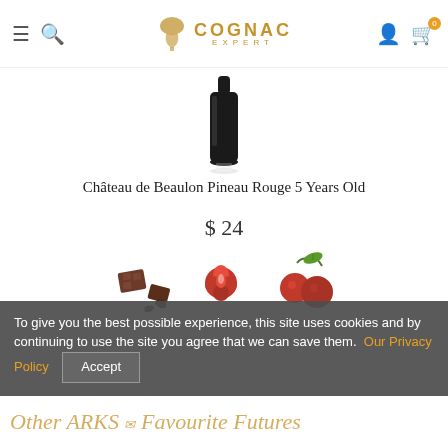Cognac Expert — navigation header with hamburger menu, search, logo, account and cart icons
[Figure (photo): Bottom portion of a dark glass bottle against white background]
Château de Beaulon Pineau Rouge 5 Years Old
$ 24
[Figure (illustration): Three flavor/aroma icons: chocolate pieces, a red rose, and red cherries]
To give you the best possible experience, this site uses cookies and by continuing to use the site you agree that we can save them. Our Privacy Policy  Accept
Other ARKS & Favourite Futures